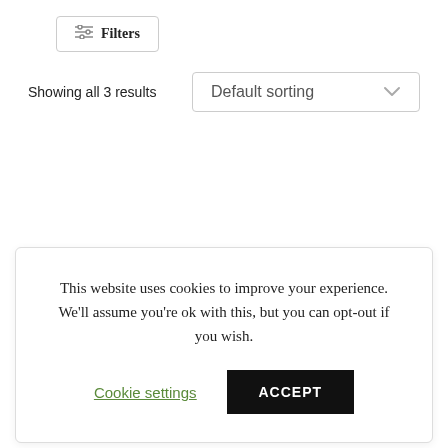Filters
Showing all 3 results
Default sorting
This website uses cookies to improve your experience. We'll assume you're ok with this, but you can opt-out if you wish.
Cookie settings
ACCEPT